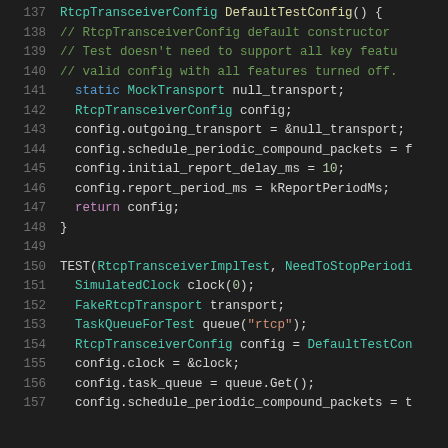[Figure (screenshot): Source code editor showing C++ code for RtcpTransceiverConfig DefaultTestConfig() function and TEST(RtcpTransceiverImplTest, NeedToStopPeriodi... function, lines 137-157, dark theme syntax highlighting.]